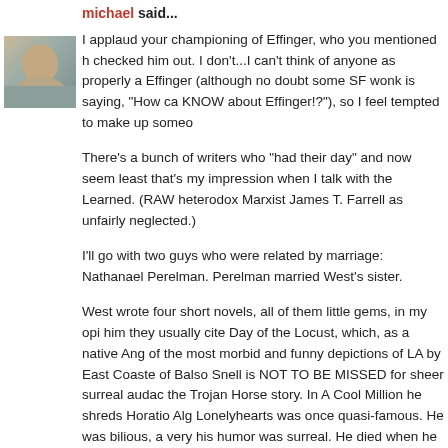michael said...
[Figure (photo): Avatar photo of a person, partially visible, with muted brown and teal tones]
I applaud your championing of Effinger, who you mentioned had checked him out. I don't...I can't think of anyone as properly as Effinger (although no doubt some SF wonk is saying, "How ca KNOW about Effinger!?"), so I feel tempted to make up someo
There's a bunch of writers who "had their day" and now seem least that's my impression when I talk with the Learned. (RAW heterodox Marxist James T. Farrell as unfairly neglected.)
I'll go with two guys who were related by marriage: Nathanael Perelman. Perelman married West's sister.
West wrote four short novels, all of them little gems, in my opi him they usually cite Day of the Locust, which, as a native Ang of the most morbid and funny depictions of LA by East Coaste of Balso Snell is NOT TO BE MISSED for sheer surreal audac the Trojan Horse story. In A Cool Million he shreds Horatio Alg Lonelyhearts was once quasi-famous. He was bilious, a very his humor was surreal. He died when he ran a red light in the Centro, CA. I think he was 36.
SJ Perelman wrote for the Marx Bros, but his short pieces for